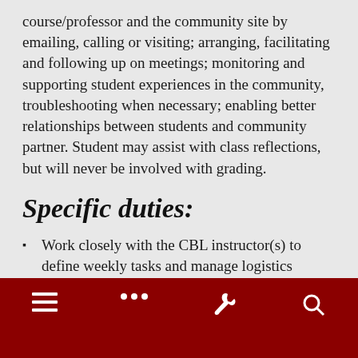course/professor and the community site by emailing, calling or visiting; arranging, facilitating and following up on meetings; monitoring and supporting student experiences in the community, troubleshooting when necessary; enabling better relationships between students and community partner. Student may assist with class reflections, but will never be involved with grading.
Specific duties:
Work closely with the CBL instructor(s) to define weekly tasks and manage logistics related to community-based learning.
Travel to partner site for observations and